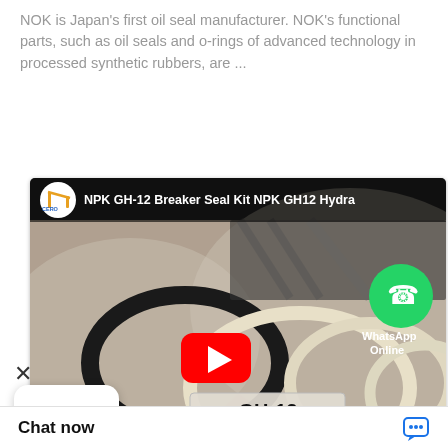NOK is Japan's first oil seal manufacturer. NOK's functional parts, such as oil seals and o-rings of advanced technology in processed synthetic rubbers, are ...
[Figure (screenshot): YouTube video thumbnail showing NPK GH-12 Breaker Seal Kit NPK GH12 Hydraulic seals. Features CERO channel logo, a thumbnail of various o-rings and seal rings (black and cream/white), a red YouTube play button, a WhatsApp Online icon, and a GH-12 product label card.]
× ···
Chat now